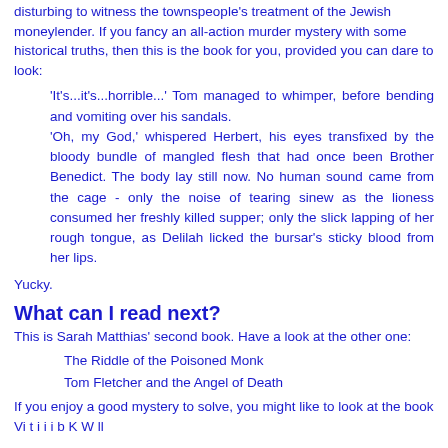disturbing to witness the townspeople's treatment of the Jewish moneylender. If you fancy an all-action murder mystery with some historical truths, then this is the book for you, provided you can dare to look:
'It's...it's...horrible...' Tom managed to whimper, before bending and vomiting over his sandals.
'Oh, my God,' whispered Herbert, his eyes transfixed by the bloody bundle of mangled flesh that had once been Brother Benedict. The body lay still now. No human sound came from the cage - only the noise of tearing sinew as the lioness consumed her freshly killed supper; only the slick lapping of her rough tongue, as Delilah licked the bursar's sticky blood from her lips.
Yucky.
What can I read next?
This is Sarah Matthias' second book. Have a look at the other one:
The Riddle of the Poisoned Monk
Tom Fletcher and the Angel of Death
If you enjoy a good mystery to solve, you might like to look at the book Vi t i i b K W ll